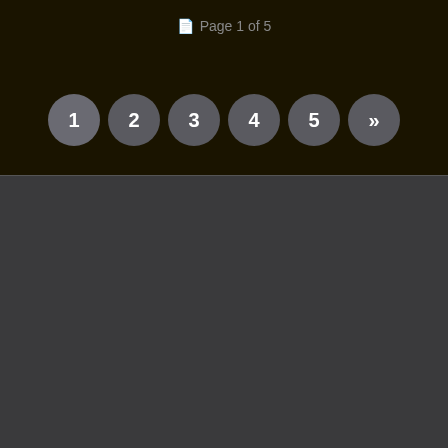Page 1 of 5
[Figure (infographic): Pagination navigation with circles numbered 1, 2, 3, 4, 5 and a >> button]
[Figure (infographic): Advertisement banner: DOWNLOAD MikuMikuDance - Free 3D Animation Software from Japan... Now in English!]